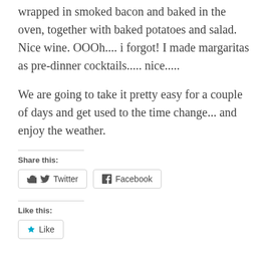wrapped in smoked bacon and baked in the oven, together with baked potatoes and salad. Nice wine. OOOh.... i forgot! I made margaritas as pre-dinner cocktails..... nice.....
We are going to take it pretty easy for a couple of days and get used to the time change... and enjoy the weather.
Share this:
Twitter  Facebook
Like this:
Like